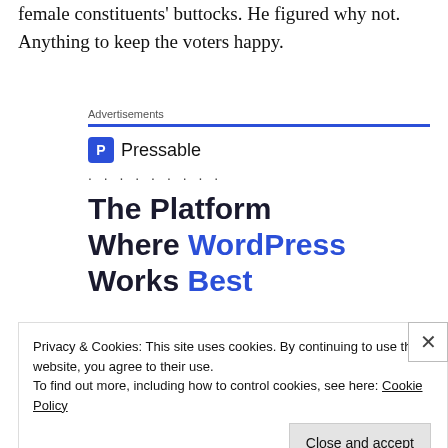female constituents' buttocks. He figured why not. Anything to keep the voters happy.
[Figure (screenshot): Pressable advertisement banner with blue line, Pressable logo, dotted loading indicator, headline 'The Platform Where WordPress Works Best', and 'SEE PRICING' blue button]
Privacy & Cookies: This site uses cookies. By continuing to use this website, you agree to their use.
To find out more, including how to control cookies, see here: Cookie Policy
Close and accept